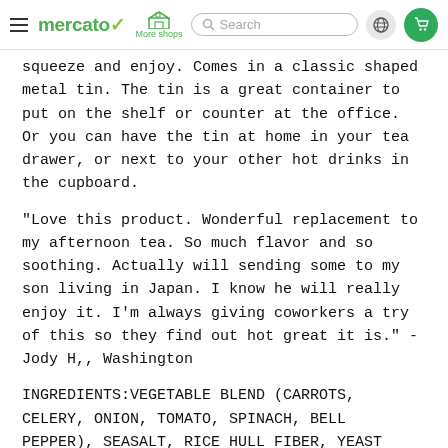mercato  More shops  Search
squeeze and enjoy. Comes in a classic shaped metal tin. The tin is a great container to put on the shelf or counter at the office. Or you can have the tin at home in your tea drawer, or next to your other hot drinks in the cupboard.
"Love this product. Wonderful replacement to my afternoon tea. So much flavor and so soothing. Actually will sending some to my son living in Japan. I know he will really enjoy it. I'm always giving coworkers a try of this so they find out hot great it is." - Jody H,, Washington
INGREDIENTS:VEGETABLE BLEND (CARROTS, CELERY, ONION, TOMATO, SPINACH, BELL PEPPER), SEASALT, RICE HULL FIBER, YEAST EXTRACT, GARLIC, decaf green tea, BASIL, HERBS & SPICES